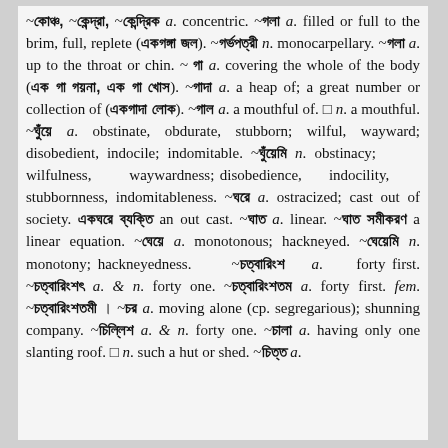~কোঞ্চ, ~কেন্দ্রা, ~কেন্দ্রিক a. concentric. ~গলা a. filled or full to the brim, full, replete (একগঙ্গা জল). ~গর্ভপত্রী n. monocarpellary. ~গলা a. up to the throat or chin. ~ গা a. covering the whole of the body (এক গা গয়না, এক গা খোস). ~গাদা a. a heap of; a great number or collection of (একগাদা লোক). ~গাল a. a mouthful of. □ n. a mouthful. ~ঘুঁয়ে a. obstinate, obdurate, stubborn; wilful, wayward; disobedient, indocile; indomitable. ~ঘুঁয়েমি n. obstinacy; wilfulness, waywardness; disobedience, indocility, stubbornness, indomitableness. ~ঘরে a. ostracized; cast out of society. একঘরে ব্যক্তি an out cast. ~ঘাত a. linear. ~ঘাত সমীকরণ a linear equation. ~ঘেয়ে a. monotonous; hackneyed. ~ঘেয়েমি n. monotony; hackneyedness. ~চত্বারিংশ a. forty first. ~চত্বারিংশৎ a. & n. forty one. ~চত্বারিংশতম a. forty first. fem. ~চত্বারিংশতমী। ~চর a. moving alone (cp. segregarious); shunning company. ~চিল্লিশ a. & n. forty one. ~চালা a. having only one slanting roof. □ n. such a hut or shed. ~চিত্ত a.